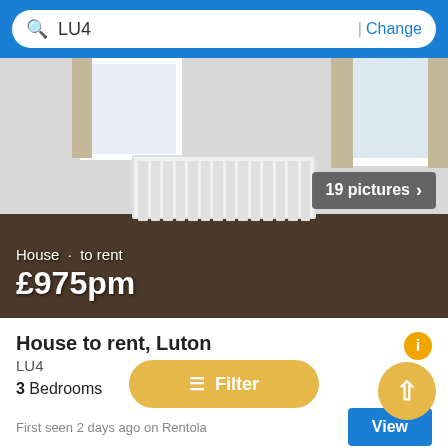LU4 | Change
[Figure (photo): Interior photo of an empty room with white walls, brown carpet, white radiator, and curtained windows. Overlay text shows 'House · to rent £975pm'. Badge shows '19 pictures >']
House to rent, Luton
LU4
3 Bedrooms
First seen 2 days ago on Rentola
View
Filter